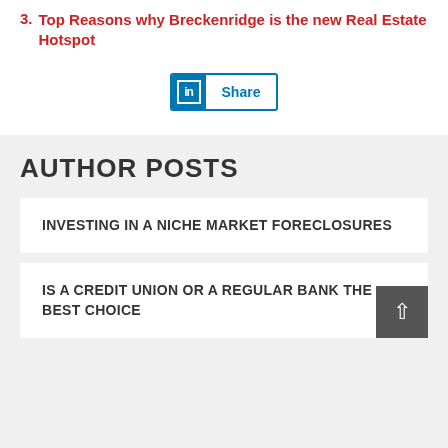3. Top Reasons why Breckenridge is the new Real Estate Hotspot
[Figure (other): LinkedIn Share button with blue border, LinkedIn 'in' logo icon on left and 'Share' text on right]
AUTHOR POSTS
INVESTING IN A NICHE MARKET FORECLOSURES
IS A CREDIT UNION OR A REGULAR BANK THE BEST CHOICE